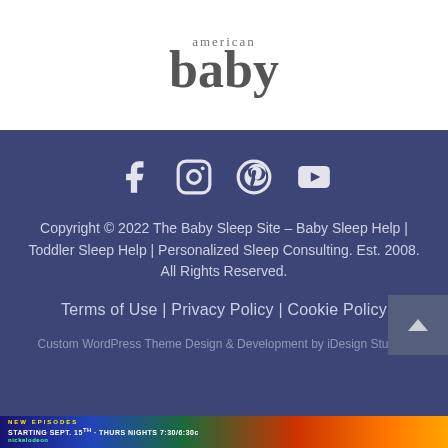[Figure (logo): American Baby magazine logo in dark gray serif font with 'american' in small text above 'baby' in large bold text]
[Figure (infographic): Social media icons row: Facebook, Instagram, Pinterest, YouTube on dark blue background]
Copyright © 2022 The Baby Sleep Site – Baby Sleep Help | Toddler Sleep Help | Personalized Sleep Consulting. Est. 2008. All Rights Reserved.
Terms of Use | Privacy Policy | Cookie Policy
Custom WordPress Theme Design & Development by iDesign Studios
[Figure (logo): SHE Media Collective Lifestyle advertisement banner with orange SHE Collective logo and teal Lifestyle button, with Learn More | Privacy text below]
[Figure (photo): That Girl Lay Lay Nickelodeon advertisement banner showing new episodes starting Sept. 15th, Thurs nights 7:30/6:30c]